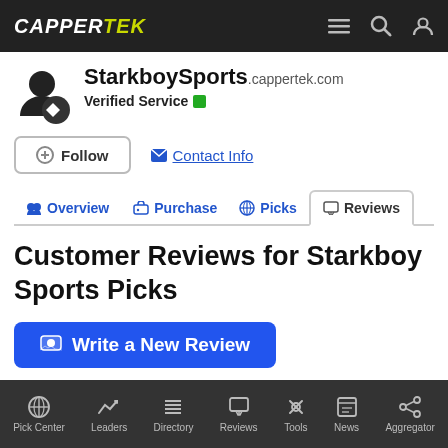CAPPERTEK
StarkboySports.cappertek.com
Verified Service
Follow  Contact Info
Overview  Purchase  Picks  Reviews
Customer Reviews for Starkboy Sports Picks
Write a New Review
Pick Center  Leaders  Directory  Reviews  Tools  News  Aggregator